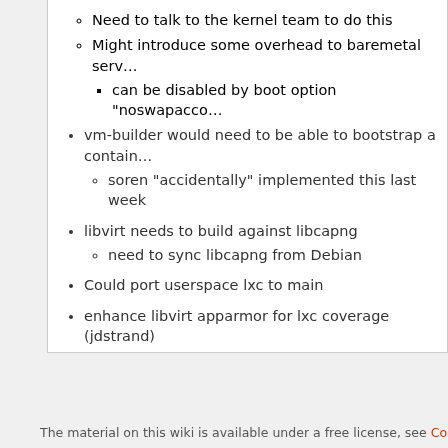Need to talk to the kernel team to do this
Might introduce some overhead to baremetal serv…
can be disabled by boot option "noswapacco…
vm-builder would need to be able to bootstrap a contain…
soren "accidentally" implemented this last week
libvirt needs to build against libcapng
need to sync libcapng from Debian
Could port userspace lxc to main
enhance libvirt apparmor for lxc coverage (jdstrand)
CategorySpec
The material on this wiki is available under a free license, see Copyright / License for d…